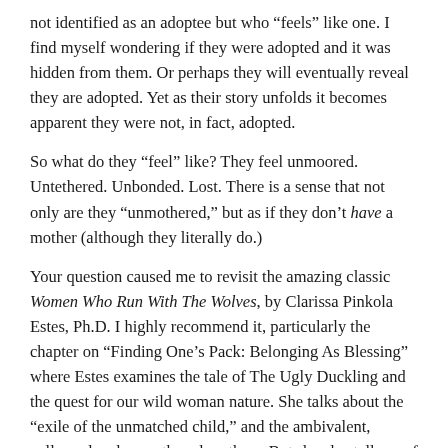not identified as an adoptee but who “feels” like one. I find myself wondering if they were adopted and it was hidden from them. Or perhaps they will eventually reveal they are adopted. Yet as their story unfolds it becomes apparent they were not, in fact, adopted.
So what do they “feel” like? They feel unmoored. Untethered. Unbonded. Lost. There is a sense that not only are they “unmothered,” but as if they don’t have a mother (although they literally do.)
Your question caused me to revisit the amazing classic Women Who Run With The Wolves, by Clarissa Pinkola Estes, Ph.D. I highly recommend it, particularly the chapter on “Finding One’s Pack: Belonging As Blessing” where Estes examines the tale of The Ugly Duckling and the quest for our wild woman nature. She talks about the “exile of the unmatched child,” and the ambivalent, collapsed and unmothered mothers. But she also tells us of the strong mother:
“Even if you had the most wonderful mother in the world, you